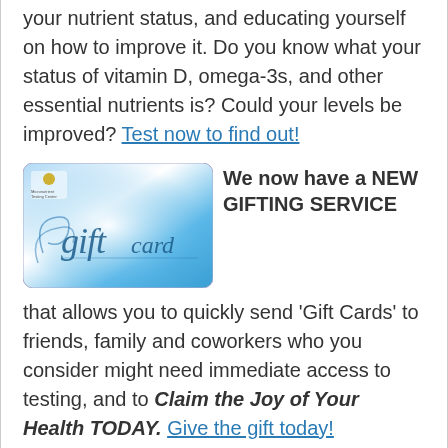your nutrient status, and educating yourself on how to improve it. Do you know what your status of vitamin D, omega-3s, and other essential nutrients is? Could your levels be improved? Test now to find out!
[Figure (photo): Blue gift card with 'gift card' text in decorative script, with a small logo in the upper left corner]
We now have a NEW GIFTING SERVICE that allows you to quickly send 'Gift Cards' to friends, family and coworkers who you consider might need immediate access to testing, and to Claim the Joy of Your Health TODAY. Give the gift today!